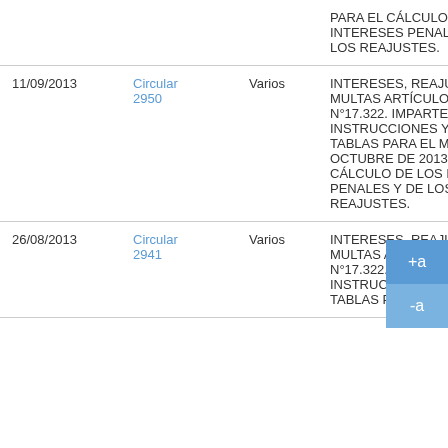| Fecha | Documento | Tipo | Descripción |  |
| --- | --- | --- | --- | --- |
|  |  |  | PARA EL CÁLCULO DE LOS INTERESES PENALES Y DE LOS REAJUSTES. |  |
| 11/09/2013 | Circular 2950 | Varios | INTERESES, REAJUSTES Y MULTAS ARTÍCULO 22 LEY N°17.322. IMPARTE INSTRUCCIONES Y REMITE TABLAS PARA EL MES DE OCTUBRE DE 2013 PARA EL CÁLCULO DE LOS INTERESES PENALES Y DE LOS REAJUSTES. |  |
| 26/08/2013 | Circular 2941 | Varios | INTERESES, REAJUSTES Y MULTAS ARTÍCULO 22 LEY N°17.322. IMPARTE INSTRUCCIONES Y REMITE TABLAS PARA |  |